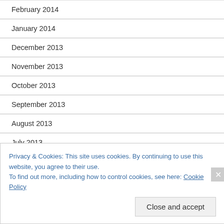February 2014
January 2014
December 2013
November 2013
October 2013
September 2013
August 2013
July 2013
June 2013
Categories
Privacy & Cookies: This site uses cookies. By continuing to use this website, you agree to their use.
To find out more, including how to control cookies, see here: Cookie Policy
Close and accept